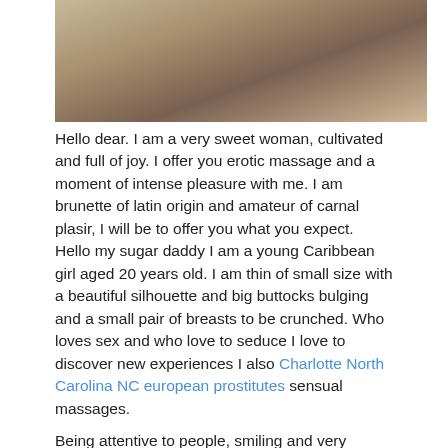[Figure (photo): Top portion of a photo showing a person, partially cropped]
Hello dear. I am a very sweet woman, cultivated and full of joy. I offer you erotic massage and a moment of intense pleasure with me. I am brunette of latin origin and amateur of carnal plasir, I will be to offer you what you expect. Hello my sugar daddy I am a young Caribbean girl aged 20 years old. I am thin of small size with a beautiful silhouette and big buttocks bulging and a small pair of breasts to be crunched. Who loves sex and who love to seduce I love to discover new experiences I also Charlotte North Carolina NC european prostitutes sensual massages.
Being attentive to people, smiling and very helpful and I am especially a real little piggy.
[Figure (photo): Bottom portion of a photo showing a person with dark hair, partially cropped]